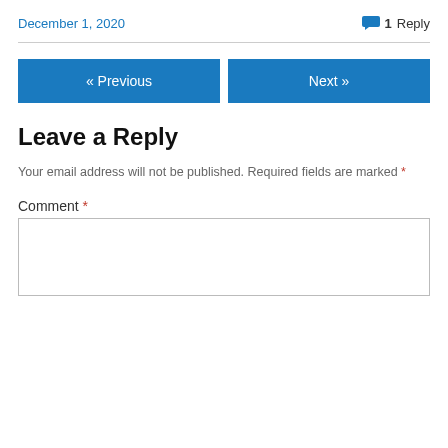December 1, 2020
1 Reply
« Previous
Next »
Leave a Reply
Your email address will not be published. Required fields are marked *
Comment *